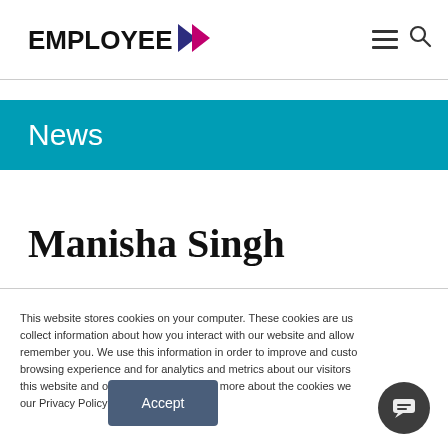EMPLOYEE >
News
Manisha Singh
This website stores cookies on your computer. These cookies are used to collect information about how you interact with our website and allow us to remember you. We use this information in order to improve and customize your browsing experience and for analytics and metrics about our visitors both on this website and other media. To find out more about the cookies we use, see our Privacy Policy